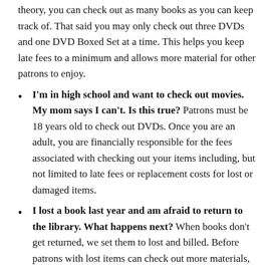theory, you can check out as many books as you can keep track of. That said you may only check out three DVDs and one DVD Boxed Set at a time. This helps you keep late fees to a minimum and allows more material for other patrons to enjoy.
I'm in high school and want to check out movies. My mom says I can't. Is this true? Patrons must be 18 years old to check out DVDs. Once you are an adult, you are financially responsible for the fees associated with checking out your items including, but not limited to late fees or replacement costs for lost or damaged items.
I lost a book last year and am afraid to return to the library. What happens next? When books don't get returned, we set them to lost and billed. Before patrons with lost items can check out more materials, they must pay the fine or replace the item. For a complete copy of our library